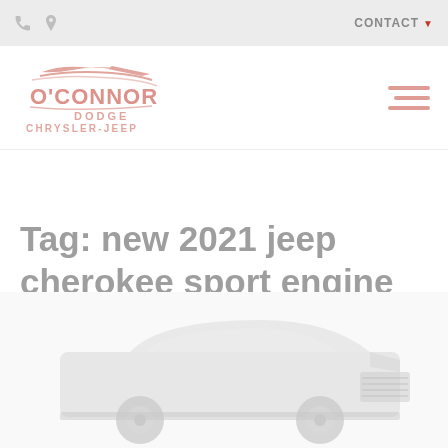CONTACT
[Figure (logo): O'Connor Dodge Chrysler-Jeep logo with stylized car graphic in red/salmon tones]
Tag: new 2021 jeep cherokee sport engine popkum
[Figure (photo): Partial view of a Jeep Cherokee vehicle, bottom portion visible, light gray tones]